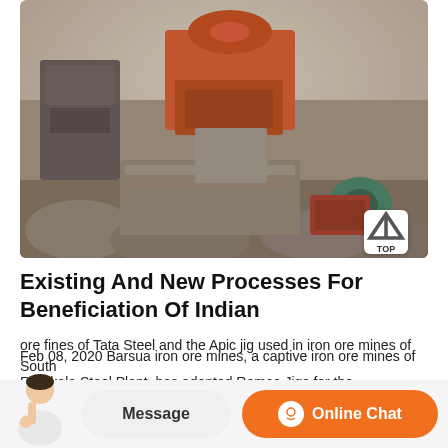[Figure (photo): Industrial crushing/mining equipment at a quarry or mine site. An orange jaw crusher is prominent in the background with rocky rubble and additional machinery visible.]
Existing And New Processes For Beneficiation Of Indian
Feb 08, 2020 Barsua iron ore mines, a captive iron ore mines of Rourkela Steel Plant, has adopted Remco Jigs for the beneficiation of ore fines of Tata Steel and the Apic jig used in iron ore mines of South